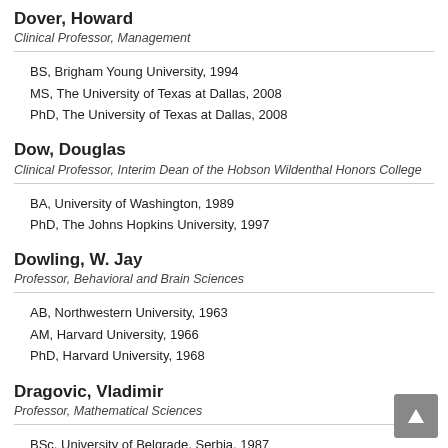Dover, Howard
Clinical Professor, Management
BS, Brigham Young University, 1994
MS, The University of Texas at Dallas, 2008
PhD, The University of Texas at Dallas, 2008
Dow, Douglas
Clinical Professor, Interim Dean of the Hobson Wildenthal Honors College
BA, University of Washington, 1989
PhD, The Johns Hopkins University, 1997
Dowling, W. Jay
Professor, Behavioral and Brain Sciences
AB, Northwestern University, 1963
AM, Harvard University, 1966
PhD, Harvard University, 1968
Dragovic, Vladimir
Professor, Mathematical Sciences
BSc, University of Belgrade, Serbia, 1987
ScD, University of Belgrade, Serbia, 1992